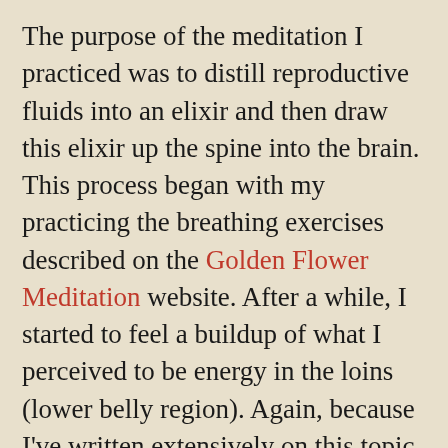The purpose of the meditation I practiced was to distill reproductive fluids into an elixir and then draw this elixir up the spine into the brain. This process began with my practicing the breathing exercises described on the Golden Flower Meditation website. After a while, I started to feel a buildup of what I perceived to be energy in the loins (lower belly region). Again, because I've written extensively on this topic, I refer you to the Common Sense Kundalini website for more detail.
As the meditation progressed, I began to feel weaker and weaker after ejaculating.